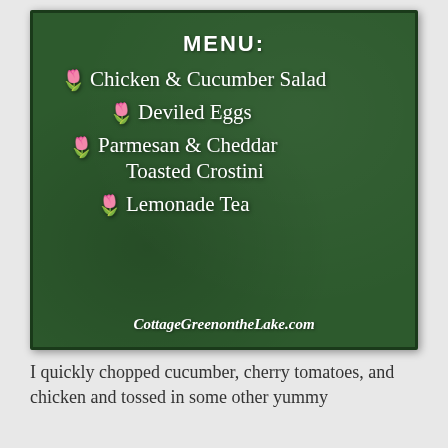[Figure (illustration): Green chalkboard with menu items listed with tulip emoji bullets]
MENU:
🌷 Chicken & Cucumber Salad
🌷 Deviled Eggs
🌷 Parmesan & Cheddar Toasted Crostini
🌷 Lemonade Tea
CottageGreenontheLake.com
I quickly chopped cucumber, cherry tomatoes, and chicken and tossed in some other yummy